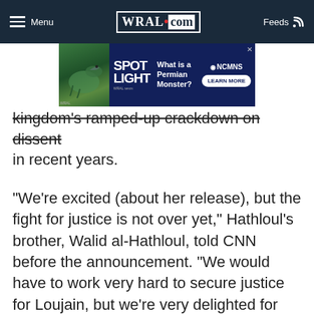Menu | WRAL.com | Feeds
[Figure (screenshot): Advertisement banner for NCMNS (NC Museum of Natural Sciences) SPOTLIGHT exhibit asking 'What is a Permian Monster?' with a Learn More button]
kingdom's ramped-up crackdown on dissent in recent years.
"We're excited (about her release), but the fight for justice is not over yet," Hathloul's brother, Walid al-Hathloul, told CNN before the announcement. "We would have to work very hard to secure justice for Loujain, but we're very delighted for this news."